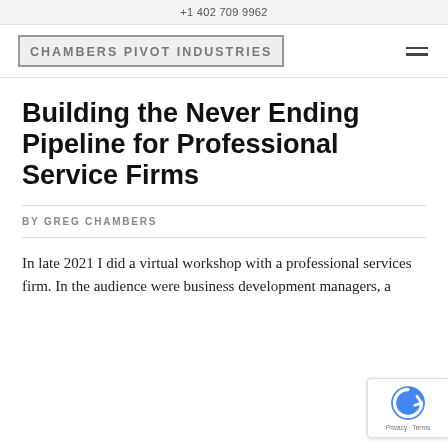+1 402 709 9962
[Figure (logo): Chambers Pivot Industries logo in metallic styled text inside a bordered box, with a hamburger menu icon on the right]
Building the Never Ending Pipeline for Professional Service Firms
BY GREG CHAMBERS
In late 2021 I did a virtual workshop with a professional services firm. In the audience were business development managers, a